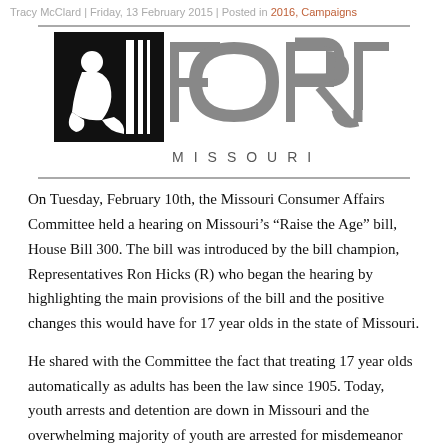Tracy McClard | Friday, 13 February 2015 | Posted in 2018, Campaigns
[Figure (logo): FORJ Missouri logo — black square with silhouette of kneeling person, large gray FORJ lettering, MISSOURI spelled out below]
On Tuesday, February 10th, the Missouri Consumer Affairs Committee held a hearing on Missouri’s “Raise the Age” bill, House Bill 300. The bill was introduced by the bill champion, Representatives Ron Hicks (R) who began the hearing by highlighting the main provisions of the bill and the positive changes this would have for 17 year olds in the state of Missouri.
He shared with the Committee the fact that treating 17 year olds automatically as adults has been the law since 1905. Today, youth arrests and detention are down in Missouri and the overwhelming majority of youth are arrested for misdemeanor offenses.
Supporters of the bill made sure to have a strong presence, and with the leadership of FORJ’s Tracy McClard, the room was packed with supporters to remove 17 year olds from the adult